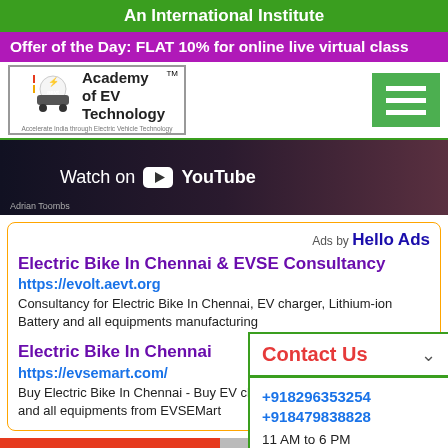An International Institute
Offer of the Day: FLAT 10% for online live virtual class
[Figure (logo): Academy of EV Technology logo with electric car icon]
[Figure (screenshot): Watch on YouTube video thumbnail with Adrian Toombs credit]
Ads by Hello Ads
Electric Bike In Chennai & EVSE Consultancy
https://evolt.aevt.org
Consultancy for Electric Bike In Chennai, EV charger, Lithium-ion Battery and all equipments manufacturing
Electric Bike In Chennai
https://evsemart.com/
Buy Electric Bike In Chennai - Buy EV charger, L... and all equipments from EVSEMart
Contact Us
+918296353254
+918479838828
11 AM to 6 PM
Become Training Partner